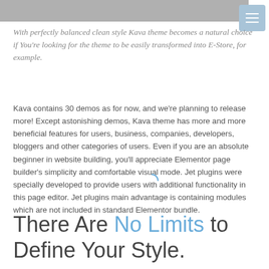[Figure (other): Gray top navigation bar with a light blue hamburger menu button in the top right corner]
With perfectly balanced clean style Kava theme becomes a natural choice if You're looking for the theme to be easily transformed into E-Store, for example.
Kava contains 30 demos as for now, and we're planning to release more! Except astonishing demos, Kava theme has more and more beneficial features for users, business, companies, developers, bloggers and other categories of users. Even if you are an absolute beginner in website building, you'll appreciate Elementor page builder's simplicity and comfortable visual mode. Jet plugins were specially developed to provide users with additional functionality in this page editor. Jet plugins main advantage is containing modules which are not included in standard Elementor bundle.
There Are No Limits to Define Your Style.